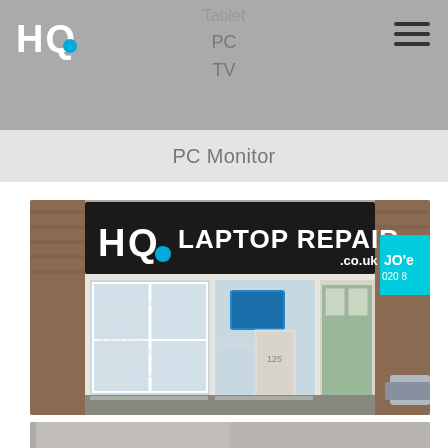HQ | Tablet | PC | TV
PC Monitor
[Figure (photo): Exterior photo of HQ Laptop Repair shop storefront with large sign reading 'HQ LAPTOP REPAIR.co.uk', shop window listing services: Power Problems, Liquid Damage, Graphic Failure, Broken Screen, Software Issues, Virus Removal, Hard Disk / SSD Upgrades, phone number 020 8393 1302]
[Figure (photo): Partial view of another shop or section at bottom of page, cropped]